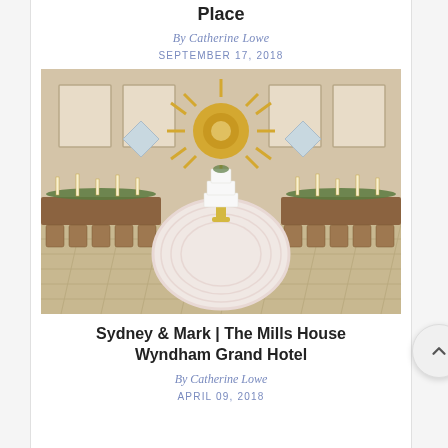Place
By Catherine Lowe
SEPTEMBER 17, 2018
[Figure (photo): Wedding reception venue photo showing a round table with white ruffled tablecloth and a tiered white cake, surrounded by long banquet tables with greenery garlands and candles, sunburst mirror decoration on wall in background]
Sydney & Mark | The Mills House Wyndham Grand Hotel
By Catherine Lowe
APRIL 09, 2018